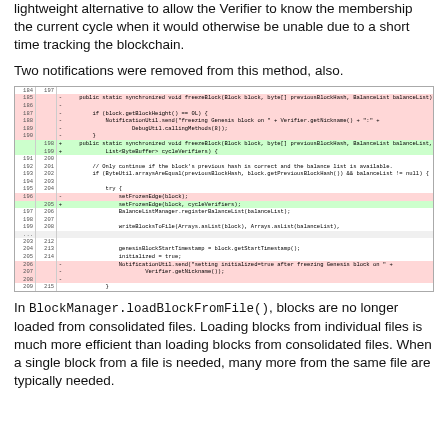lightweight alternative to allow the Verifier to know the membership the current cycle when it would otherwise be unable due to a short time tracking the blockchain.
Two notifications were removed from this method, also.
[Figure (screenshot): A code diff block showing changes to a Java method freezeBlock(), with lines removed in red and lines added in green. The diff shows modifications including addition of cycleVerifiers parameter and removal of notification calls.]
In BlockManager.loadBlockFromFile(), blocks are no longer loaded from consolidated files. Loading blocks from individual files is much more efficient than loading blocks from consolidated files. When a single block from a file is needed, many more from the same file are typically needed.